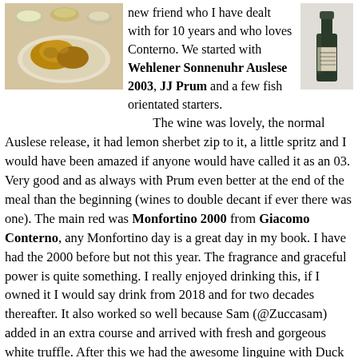[Figure (photo): Photo of cooked food (appears to be roasted chicken or similar) on a white plate with small side dishes in background]
new friend who I have dealt with for 10 years and who loves Conterno. We started with Wehlener Sonnenuhr Auslese 2003, JJ Prum and a few fish orientated starters. The wine was lovely, the normal Auslese release, it had lemon sherbet zip to it, a little spritz and I would have been amazed if anyone would have called it as an 03. Very good and as always with Prum even better at the end of the meal than the beginning (wines to double decant if ever there was one). The main red was Monfortino 2000 from Giacomo Conterno, any Monfortino day is a great day in my book. I have had the 2000 before but not this year. The fragrance and graceful power is quite something. I really enjoyed drinking this, if I owned it I would say drink from 2018 and for two decades thereafter. It also worked so well because Sam (@Zuccasam) added in an extra course and arrived with fresh and gorgeous white truffle. After this we had the awesome linguine with Duck Ragu and chatted away…just what wine is all about, a cracking pre-Christmas week
[Figure (photo): Photo of a wine bottle with dark label, appears to be a German or Italian wine]